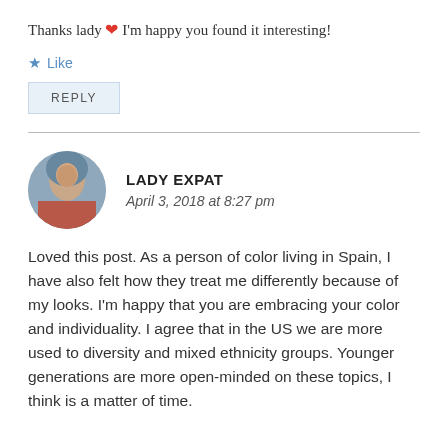Thanks lady ❤ I'm happy you found it interesting!
★ Like
REPLY
LADY EXPAT
April 3, 2018 at 8:27 pm
Loved this post. As a person of color living in Spain, I have also felt how they treat me differently because of my looks. I'm happy that you are embracing your color and individuality. I agree that in the US we are more used to diversity and mixed ethnicity groups. Younger generations are more open-minded on these topics, I think is a matter of time.